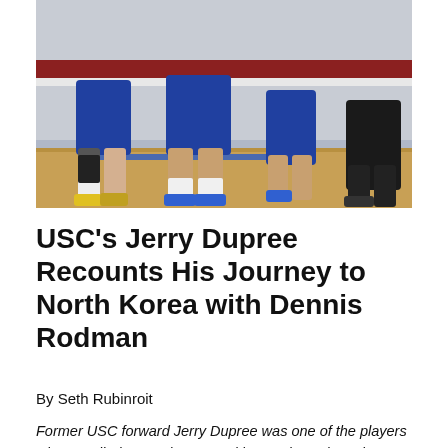[Figure (photo): Basketball players in blue uniforms on an indoor court, showing legs and lower bodies mid-game]
USC’s Jerry Dupree Recounts His Journey to North Korea with Dennis Rodman
By Seth Rubinroit
Former USC forward Jerry Dupree was one of the players who travelled to North Korea with Dennis Rodman in December to compete in an exhibition basketball game. Rodman’s squad played against the North Korean Senior National team on the birthday of Kim Jong-Un, the country’s leader. In his first interview since returning to